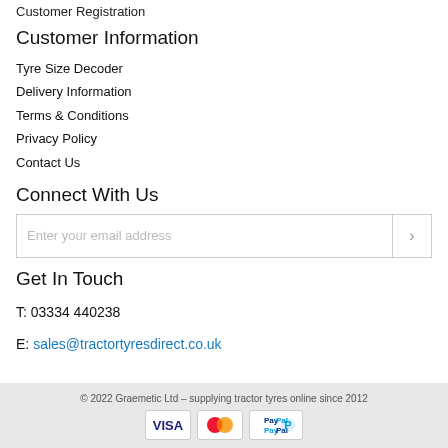Customer Registration
Customer Information
Tyre Size Decoder
Delivery Information
Terms & Conditions
Privacy Policy
Contact Us
Connect With Us
Enter your email address
Get In Touch
T: 03334 440238
E: sales@tractortyresdirect.co.uk
© 2022 Graemetic Ltd – supplying tractor tyres online since 2012